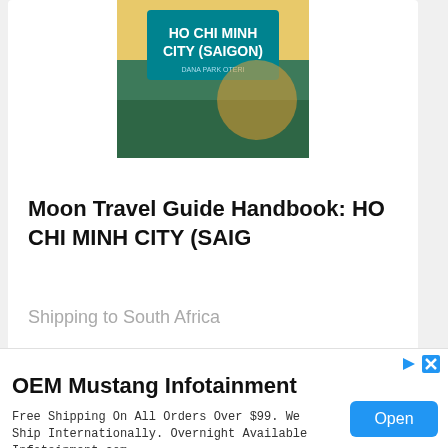[Figure (photo): Book cover for Moon Travel Guide Handbook: Ho Chi Minh City (Saigon), showing a partial view of the cover with teal text and colorful imagery]
Moon Travel Guide Handbook: HO CHI MINH CITY (SAIG
Shipping to South Africa
eBay
Price: 34 R
Product condition: Used
See details
[Figure (screenshot): Advertisement banner for OEM Mustang Infotainment with Open button]
OEM Mustang Infotainment
Free Shipping On All Orders Over $99. We Ship Internationally. Overnight Available Infotainment.com